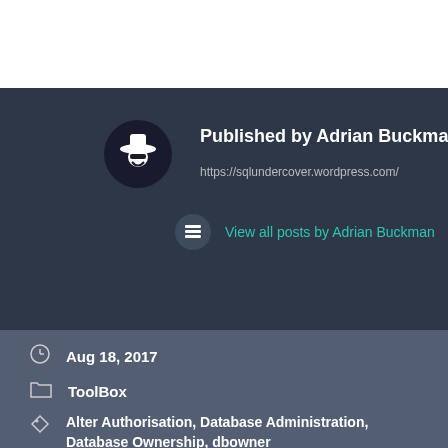Published by Adrian Buckman
https://sqlundercover.wordpress.com/
View all posts by Adrian Buckman
Aug 18, 2017
ToolBox
Alter Authorisation, Database Administration, Database Ownership, dbowner
View your Failover Cluster from the DMV's
Building an IN list using REPLACE